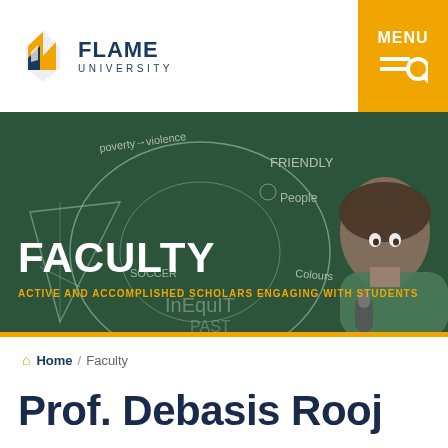FLAME UNIVERSITY
[Figure (photo): Faculty hero image: instructor holding microphone in front of a chalkboard with various words and diagrams drawn in chalk, including circles, arrows, and words like 'FRIENDLY', 'People', 'Colours', 'SOCCER', 'poverty→violence']
FACULTY
ACTIVE AND ACCOMPLISHED SCHOLARS ENGAGING WITH STUDENTS
Home / Faculty
Prof. Debasis Rooj